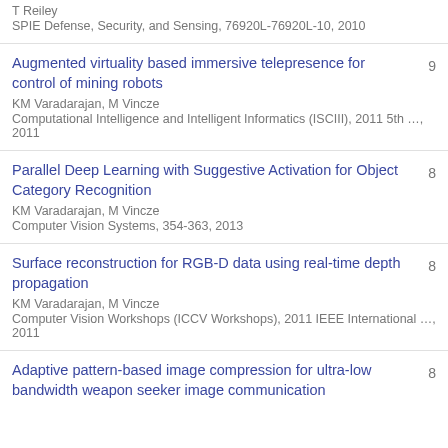T Reiley
SPIE Defense, Security, and Sensing, 76920L-76920L-10, 2010
Augmented virtuality based immersive telepresence for control of mining robots
KM Varadarajan, M Vincze
Computational Intelligence and Intelligent Informatics (ISCIII), 2011 5th …, 2011
9
Parallel Deep Learning with Suggestive Activation for Object Category Recognition
KM Varadarajan, M Vincze
Computer Vision Systems, 354-363, 2013
8
Surface reconstruction for RGB-D data using real-time depth propagation
KM Varadarajan, M Vincze
Computer Vision Workshops (ICCV Workshops), 2011 IEEE International …, 2011
8
Adaptive pattern-based image compression for ultra-low bandwidth weapon seeker image communication
8